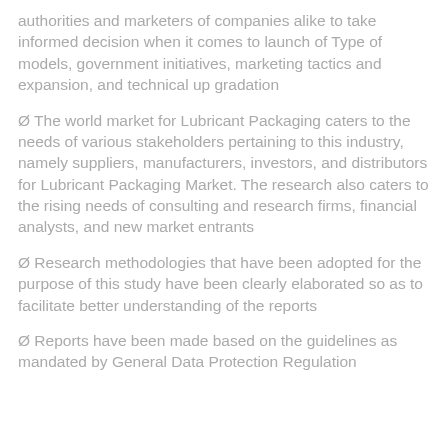authorities and marketers of companies alike to take informed decision when it comes to launch of Type of models, government initiatives, marketing tactics and expansion, and technical up gradation
Ø The world market for Lubricant Packaging caters to the needs of various stakeholders pertaining to this industry, namely suppliers, manufacturers, investors, and distributors for Lubricant Packaging Market. The research also caters to the rising needs of consulting and research firms, financial analysts, and new market entrants
Ø Research methodologies that have been adopted for the purpose of this study have been clearly elaborated so as to facilitate better understanding of the reports
Ø Reports have been made based on the guidelines as mandated by General Data Protection Regulation